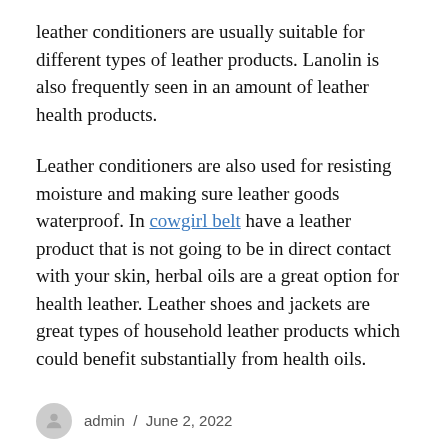leather conditioners are usually suitable for different types of leather products. Lanolin is also frequently seen in an amount of leather health products.
Leather conditioners are also used for resisting moisture and making sure leather goods waterproof. In cowgirl belt have a leather product that is not going to be in direct contact with your skin, herbal oils are a great option for health leather. Leather shoes and jackets are great types of household leather products which could benefit substantially from health oils.
admin / June 2, 2022